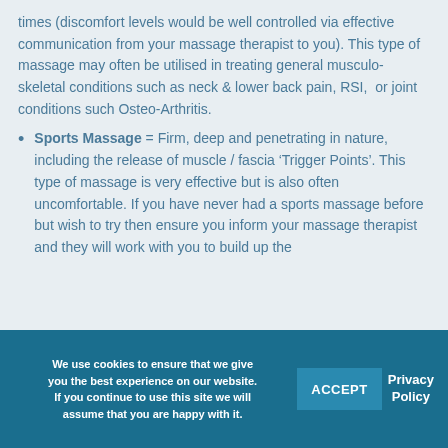times (discomfort levels would be well controlled via effective communication from your massage therapist to you). This type of massage may often be utilised in treating general musculo-skeletal conditions such as neck & lower back pain, RSI,  or joint conditions such Osteo-Arthritis.
Sports Massage = Firm, deep and penetrating in nature, including the release of muscle / fascia ‘Trigger Points’. This type of massage is very effective but is also often uncomfortable. If you have never had a sports massage before but wish to try then ensure you inform your massage therapist and they will work with you to build up the
We use cookies to ensure that we give you the best experience on our website. If you continue to use this site we will assume that you are happy with it.